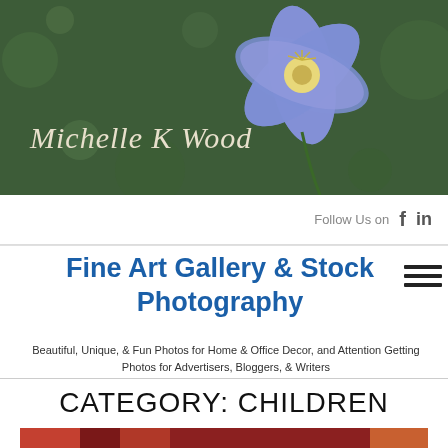[Figure (photo): Website header banner with green bokeh background and a large purple/blue flower on the right side. 'Michelle K Wood' written in italic script on the left.]
Michelle K Wood
Follow Us on  f  in
Fine Art Gallery & Stock Photography
Beautiful, Unique, & Fun Photos for Home & Office Decor, and Attention Getting Photos for Advertisers, Bloggers, & Writers
CATEGORY: CHILDREN
[Figure (photo): Child peeking out from under a plaid/quilted blanket or fabric, visible eyes and top of face, near wooden chair legs.]